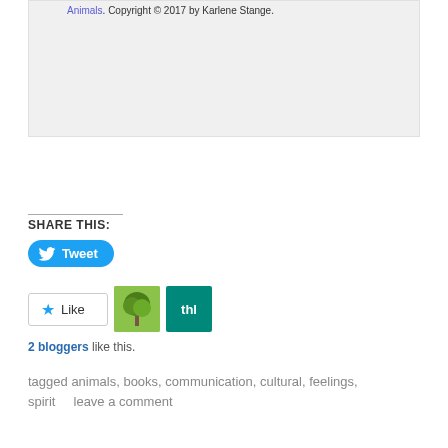Animals. Copyright © 2017 by Karlene Stange.
SHARE THIS:
[Figure (other): Tweet button with Twitter bird icon]
[Figure (other): Like button with star icon and two blogger avatars]
2 bloggers like this.
tagged animals, books, communication, cultural, feelings, spirit     leave a comment